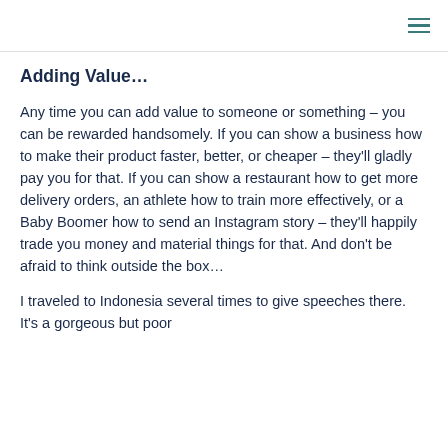Adding Value…
Any time you can add value to someone or something – you can be rewarded handsomely.  If you can show a business how to make their product faster, better, or cheaper – they'll gladly pay you for that.  If you can show a restaurant how to get more delivery orders, an athlete how to train more effectively, or a Baby Boomer how to send an Instagram story – they'll happily trade you money and material things for that.  And don't be afraid to think outside the box…
I traveled to Indonesia several times to give speeches there. It's a gorgeous but poor